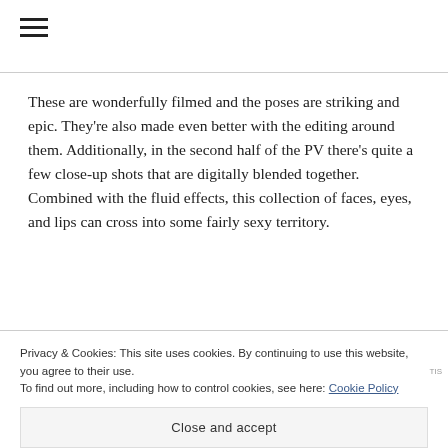[Figure (other): Hamburger menu icon (three horizontal lines)]
These are wonderfully filmed and the poses are striking and epic. They're also made even better with the editing around them. Additionally, in the second half of the PV there's quite a few close-up shots that are digitally blended together. Combined with the fluid effects, this collection of faces, eyes, and lips can cross into some fairly sexy territory.
However, that's just a taste of what's to come. The video
Privacy & Cookies: This site uses cookies. By continuing to use this website, you agree to their use.
To find out more, including how to control cookies, see here: Cookie Policy
Close and accept